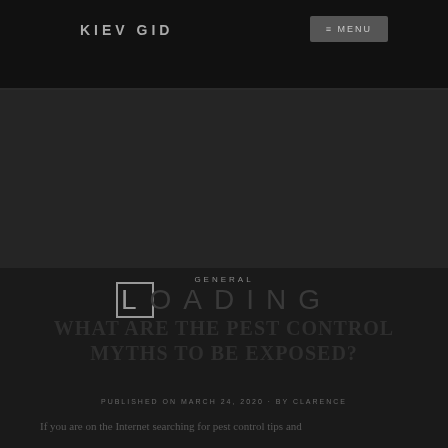KIEV GID
[Figure (photo): Dark hero image area, large dark gray rectangle serving as article banner image placeholder]
GENERAL
LOADING
WHAT ARE THE PEST CONTROL MYTHS TO BE EXPOSED?
PUBLISHED ON MARCH 24, 2020 BY CLARENCE
If you are on the Internet searching for pest control tips and